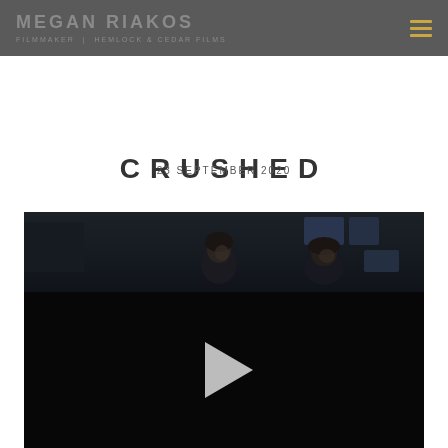MEGAN RIAKOS FILMMAKER | HEMLOCK & CEDAR FILMS
CRUSHED
23 SEPTEMBER 2020
[Figure (screenshot): Video player thumbnail showing a dark scene with two figures in the upper portion and a black background with a white play button triangle in the lower portion.]